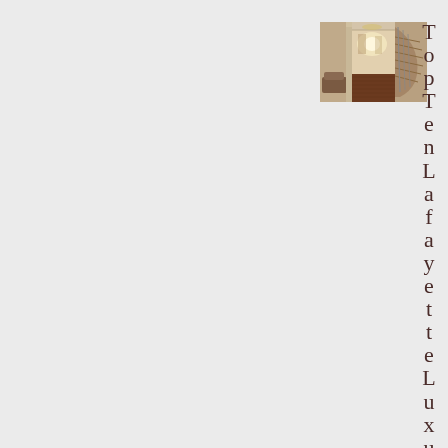[Figure (photo): Interior photo of a luxury home foyer showing a curved staircase with metal railings, hardwood floors, and a hallway with warm lighting]
TopTenLafayetteLuxu